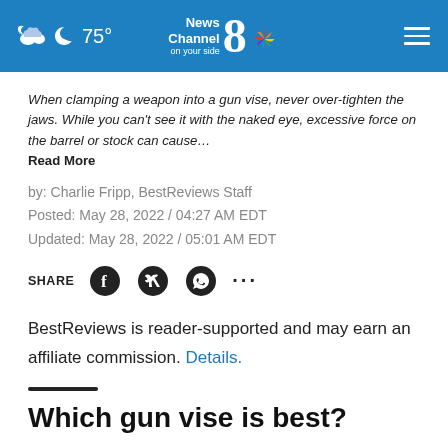75° News Channel 8 on your side
When clamping a weapon into a gun vise, never over-tighten the jaws. While you can't see it with the naked eye, excessive force on the barrel or stock can cause… Read More
by: Charlie Fripp, BestReviews Staff
Posted: May 28, 2022 / 04:27 AM EDT
Updated: May 28, 2022 / 05:01 AM EDT
SHARE
BestReviews is reader-supported and may earn an affiliate commission. Details.
Which gun vise is best?